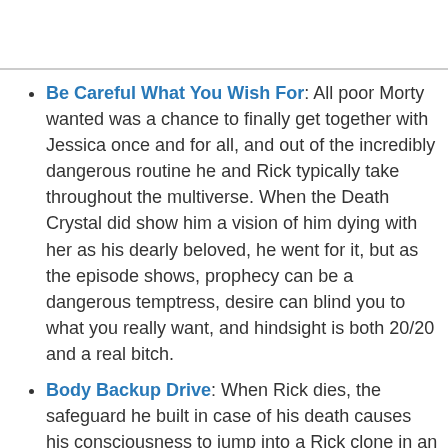Be Careful What You Wish For: All poor Morty wanted was a chance to finally get together with Jessica once and for all, and out of the incredibly dangerous routine he and Rick typically take throughout the multiverse. When the Death Crystal did show him a vision of him dying with her as his dearly beloved, he went for it, but as the episode shows, prophecy can be a dangerous temptress, desire can blind you to what you really want, and hindsight is both 20/20 and a real bitch.
Body Backup Drive: When Rick dies, the safeguard he built in case of his death causes his consciousness to jump into a Rick clone in an alternate dimension because he destroyed his version of the technology two seasons ago. Unfortunately, he ends up in fascist dimensions the first several times this happens. He finally finds a friendly dimension, but...